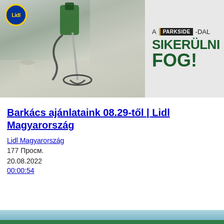[Figure (screenshot): Left side: photo of a Parkside electric mixer/drill tool with spiral attachment on a concrete floor, with Lidl logo in top-left corner. Right side: advertisement banner with Parkside branding text 'A PARKSIDE -DAL SIKERÜLNI FOG!' on light grey background.]
Barkács ajánlataink 08.29-től | Lidl Magyarország
Lidl Magyarország
177 Просм.
20.08.2022
00:00:54
[Figure (screenshot): Bottom strip preview of another video, showing a light blue/teal background.]